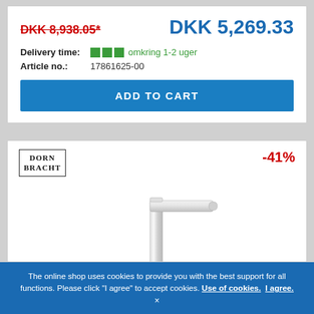DKK 8,938.05*
DKK 5,269.33
Delivery time: omkring 1-2 uger
Article no.: 17861625-00
ADD TO CART
[Figure (logo): Dornbracht brand logo with border]
-41%
[Figure (photo): Chrome kitchen faucet with angular L-shaped spout on white background]
The online shop uses cookies to provide you with the best support for all functions. Please click "I agree" to accept cookies. Use of cookies. I agree.